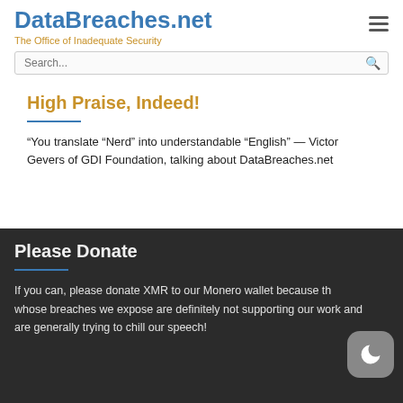DataBreaches.net — The Office of Inadequate Security
High Praise, Indeed!
“You translate “Nerd” into understandable “English” — Victor Gevers of GDI Foundation, talking about DataBreaches.net
Please Donate
If you can, please donate XMR to our Monero wallet because the whose breaches we expose are definitely not supporting our work and are generally trying to chill our speech!